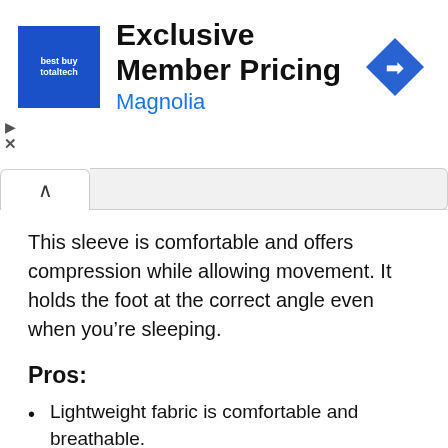[Figure (infographic): Advertisement banner for Best Buy Totaltech showing 'Exclusive Member Pricing' for Magnolia, with a blue square logo and a blue navigation arrow diamond icon]
This sleeve is comfortable and offers compression while allowing movement. It holds the foot at the correct angle even when you’re sleeping.
Pros:
Lightweight fabric is comfortable and breathable.
Retain shape and firm compression over time.
Thin fabric fits comfortably with your